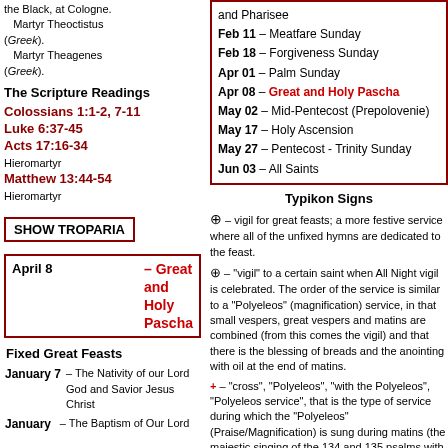the Black, at Cologne. Martyr Theoctistus (Greek). Martyr Theagenes (Greek).
The Scripture Readings
Colossians 1:1-2, 7-11
Luke 6:37-45
Acts 17:16-34
Hieromartyr
Matthew 13:44-54
Hieromartyr
SHOW TROPARIA
Feb 11 – Meatfare Sunday
Feb 18 – Forgiveness Sunday
Apr 01 – Palm Sunday
Apr 08 – Great and Holy Pascha
May 02 – Mid-Pentecost (Prepolovenie)
May 17 – Holy Ascension
May 27 – Pentecost - Trinity Sunday
Jun 03 – All Saints
April 8 – Great and Holy Pascha
Fixed Great Feasts
January 7 – The Nativity of our Lord God and Savior Jesus Christ
January – The Baptism of Our Lord
Typikon Signs
⊕ – vigil for great feasts; a more festive service where all of the unfixed hymns are dedicated to the feast.
⊕ – "vigil" to a certain saint when All Night vigil is celebrated. The order of the service is similar to a "Polyeleos" (magnification) service, in that small vespers, great vespers and matins are combined (from this comes the vigil) and that there is the blessing of breads and the anointing with oil at the end of matins.
+ – "cross", "Polyeleos", "with the Polyeleos", "Polyeleos service", that is the type of service during which the "Polyeleos" (Praise/Magnification) is sung during matins (the majestic singing of the 134 and 135 psalms with verses); in addition, during this service there is a reading from the Gospel, the prokeimenon, gradual antiphons, the canon with 8 troparions, the praises and Great Doxology are sung, and